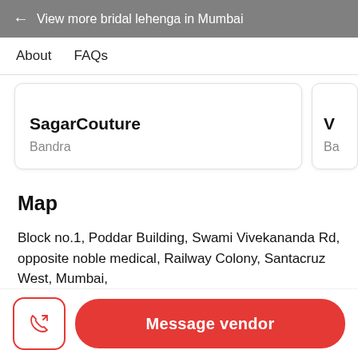← View more bridal lehenga in Mumbai
About   FAQs
SagarCouture
Bandra
Map
Block no.1, Poddar Building, Swami Vivekananda Rd, opposite noble medical, Railway Colony, Santacruz West, Mumbai,
Message vendor